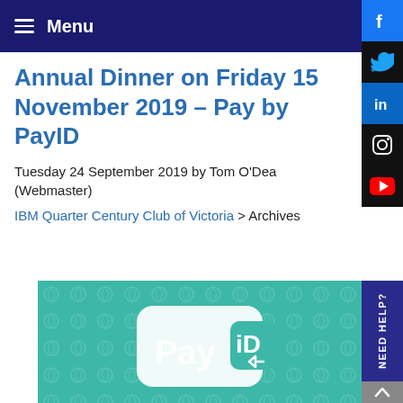≡ Menu
Annual Dinner on Friday 15 November 2019 – Pay by PayID
Tuesday 24 September 2019 by Tom O'Dea (Webmaster)
IBM Quarter Century Club of Victoria > Archives
[Figure (photo): PayID logo on teal/green background with decorative pattern]